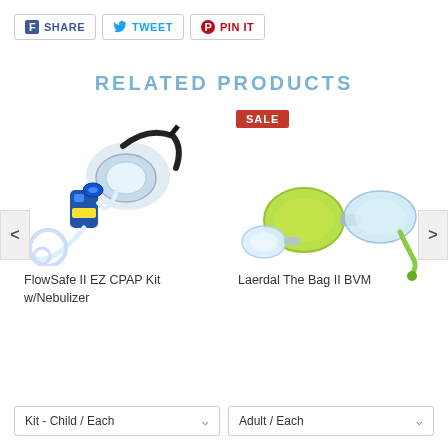SHARE  TWEET  PIN IT
RELATED PRODUCTS
[Figure (photo): FlowSafe II EZ CPAP Kit with Nebulizer — respiratory mask with tubing and nebulizer attached]
FlowSafe II EZ CPAP Kit w/Nebulizer
[Figure (photo): Laerdal The Bag II BVM — yellow/green squeeze bag with clear mask and green oxygen tubing, SALE badge]
Laerdal The Bag II BVM
Kit - Child / Each
Adult / Each